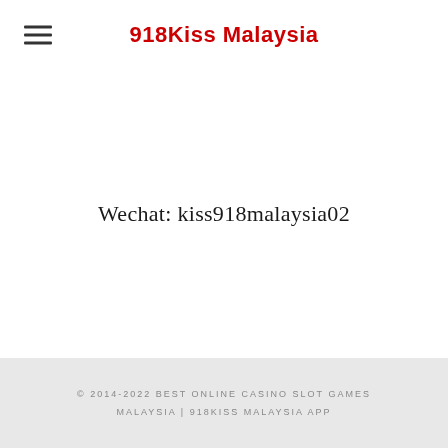918Kiss Malaysia
Wechat: kiss918malaysia02
© 2014-2022 BEST ONLINE CASINO SLOT GAMES MALAYSIA | 918KISS MALAYSIA APP